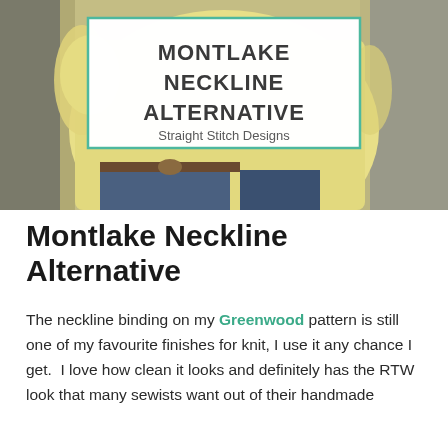[Figure (photo): Photo of a person wearing a light yellow knit top with jeans, outdoors with a blurred background. Overlaid with a white box with teal border containing the text 'MONTLAKE NECKLINE ALTERNATIVE' and 'Straight Stitch Designs'.]
Montlake Neckline Alternative
The neckline binding on my Greenwood pattern is still one of my favourite finishes for knit, I use it any chance I get.  I love how clean it looks and definitely has the RTW look that many sewists want out of their handmade